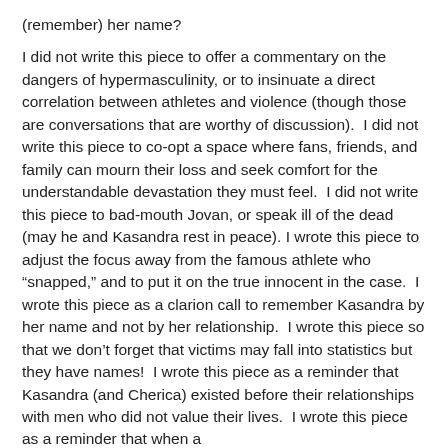(remember) her name?

I did not write this piece to offer a commentary on the dangers of hypermasculinity, or to insinuate a direct correlation between athletes and violence (though those are conversations that are worthy of discussion).  I did not write this piece to co-opt a space where fans, friends, and family can mourn their loss and seek comfort for the understandable devastation they must feel.  I did not write this piece to bad-mouth Jovan, or speak ill of the dead (may he and Kasandra rest in peace). I wrote this piece to adjust the focus away from the famous athlete who “snapped,” and to put it on the true innocent in the case.  I wrote this piece as a clarion call to remember Kasandra by her name and not by her relationship.  I wrote this piece so that we don’t forget that victims may fall into statistics but they have names!  I wrote this piece as a reminder that Kasandra (and Cherica) existed before their relationships with men who did not value their lives.  I wrote this piece as a reminder that when a